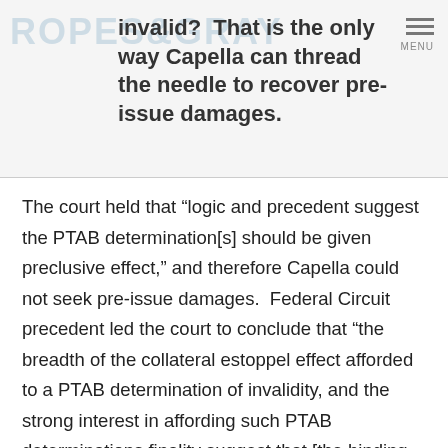invalid?  That is the only way Capella can thread the needle to recover pre-issue damages.
The court held that “logic and precedent suggest the PTAB determination[s] should be given preclusive effect,” and therefore Capella could not seek pre-issue damages.  Federal Circuit precedent led the court to conclude that “the breadth of the collateral estoppel effect afforded to a PTAB determination of invalidity, and the strong interest in affording such PTAB determinations finality suggest that [the binding effect of a PTAB decision applies to the validity of substantially identical claims of a reissued patent].” And notably, the court found that preclusion applies whether the PTAB invalidated the claims under the BRI